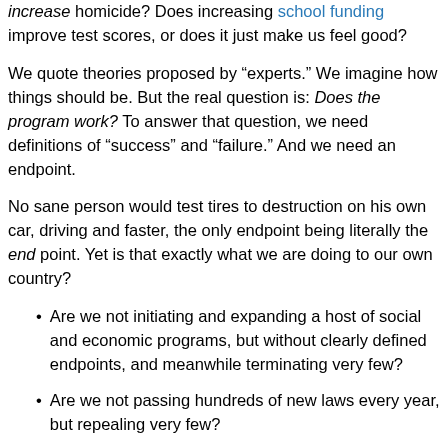increase homicide? Does increasing school funding improve test scores, or does it just make us feel good?
We quote theories proposed by "experts." We imagine how things should be. But the real question is: Does the program work? To answer that question, we need definitions of "success" and "failure." And we need an endpoint.
No sane person would test tires to destruction on his own car, driving faster and faster, the only endpoint being literally the end point. Yet is that not exactly what we are doing to our own country?
Are we not initiating and expanding a host of social and economic programs, but without clearly defined endpoints, and meanwhile terminating very few?
Are we not passing hundreds of new laws every year, but repealing very few?
Are we not issuing thousands of new regulations every year, but rescinding very few?
Are we not allowing political discussions to degenerate in…